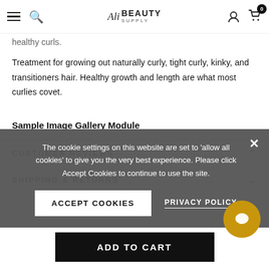Ali Beauty Supply — navigation header with hamburger menu, search, logo, user icon, cart (0)
healthy curls.
Treatment for growing out naturally curly, tight curly, kinky, and transitioners hair. Healthy growth and length are what most curlies covet.
Sample Image Gallery Module
CUSTOMER REVIEWS
SHIPPING & RETURNS
The cookie settings on this website are set to 'allow all cookies' to give you the very best experience. Please click Accept Cookies to continue to use the site.
ACCEPT COOKIES
PRIVACY POLICY
ADD TO CART